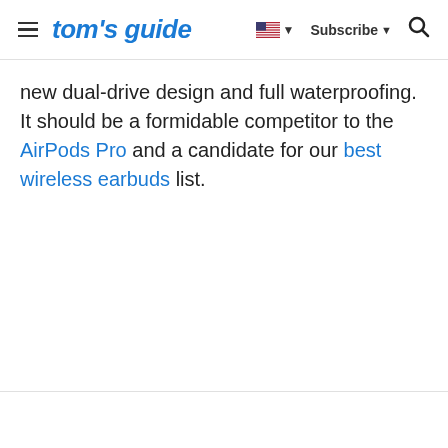tom's guide | Subscribe
new dual-drive design and full waterproofing. It should be a formidable competitor to the AirPods Pro and a candidate for our best wireless earbuds list.